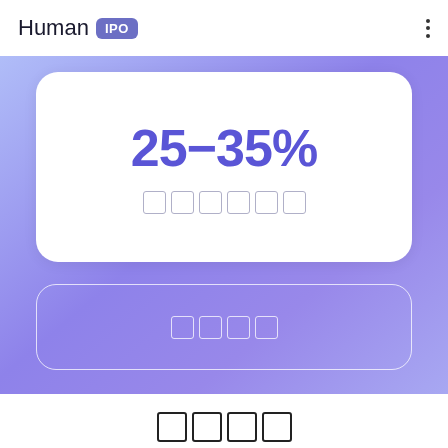Human IPO
25-35%
□□□□□□
□□□□
□□□□